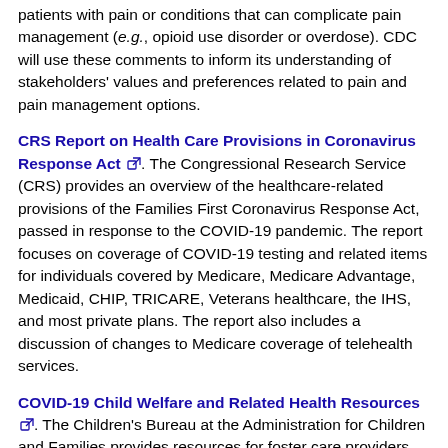patients with pain or conditions that can complicate pain management (e.g., opioid use disorder or overdose).  CDC will use these comments to inform its understanding of stakeholders' values and preferences related to pain and pain management options.
CRS Report on Health Care Provisions in Coronavirus Response Act.  The Congressional Research Service (CRS) provides an overview of the healthcare-related provisions of the Families First Coronavirus Response Act, passed in response to the COVID-19 pandemic. The report focuses on coverage of COVID-19 testing and related items for individuals covered by Medicare, Medicare Advantage, Medicaid, CHIP, TRICARE, Veterans healthcare, the IHS, and most private plans. The report also includes a discussion of changes to Medicare coverage of telehealth services.
COVID-19 Child Welfare and Related Health Resources.  The Children's Bureau at the Administration for Children and Families provides resources for foster care providers and the child welfare workforce in response to the COVID-19 emergency.  The page includes a list of state and national resources.
COVID-19 Data from the U.S. Census Bureau. Updated regularly, the site provides access to demographic and economic data that may